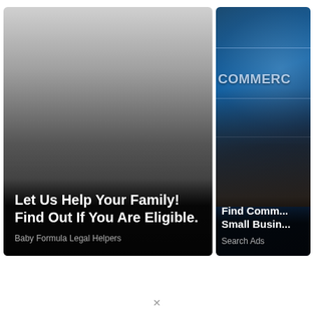[Figure (photo): Left advertisement: dark gradient background (light gray top to black bottom) with bold white text overlay. Title: 'Let Us Help Your Family! Find Out If You Are Eligible.' Source: 'Baby Formula Legal Helpers']
[Figure (photo): Right advertisement (partially cropped): dark blue background with world map/globe graphic, hand pointing, and 'COMMERC' text visible. Title: 'Find Comm... Small Busin...' Source: 'Search Ads']